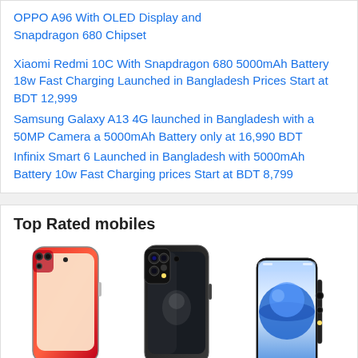OPPO A96 With OLED Display and Snapdragon 680 Chipset
Xiaomi Redmi 10C With Snapdragon 680 5000mAh Battery 18w Fast Charging Launched in Bangladesh Prices Start at BDT 12,999
Samsung Galaxy A13 4G launched in Bangladesh with a 50MP Camera a 5000mAh Battery only at 16,990 BDT
Infinix Smart 6 Launched in Bangladesh with 5000mAh Battery 10w Fast Charging prices Start at BDT 8,799
Top Rated mobiles
[Figure (photo): Samsung Galaxy S21 phone image - red color]
[Figure (photo): Samsung Galaxy S20 phone image - black color]
[Figure (photo): Xiaomi Mi Mix Alpha phone image - blue gradient]
Samsung Galaxy S21
Samsung Galaxy S20
Xiaomi Mi Mix Alpha